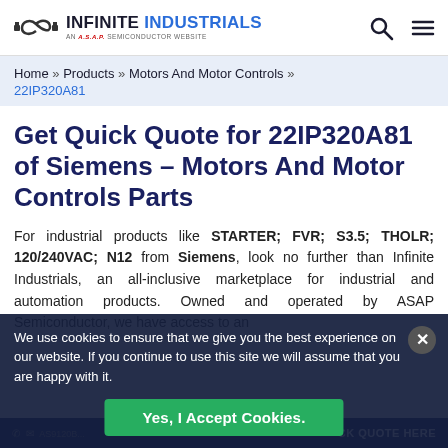INFINITE INDUSTRIALS — AN A.S.A.P. SEMICONDUCTOR WEBSITE
Home » Products » Motors And Motor Controls » 22IP320A81
Get Quick Quote for 22IP320A81 of Siemens – Motors And Motor Controls Parts
For industrial products like STARTER; FVR; S3.5; THOLR; 120/240VAC; N12 from Siemens, look no further than Infinite Industrials, an all-inclusive marketplace for industrial and automation products. Owned and operated by ASAP Semiconductor, we have access to an extensive inventory...
We use cookies to ensure that we give you the best experience on our website. If you continue to use this site we will assume that you are happy with it.
Yes, I Accept Cookies.